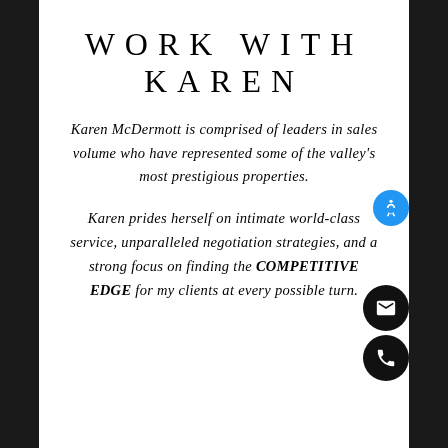WORK WITH KAREN
Karen McDermott is comprised of leaders in sales volume who have represented some of the valley's most prestigious properties.
Karen prides herself on intimate world-class service, unparalleled negotiation strategies, and a strong focus on finding the COMPETITIVE EDGE for my clients at every possible turn.